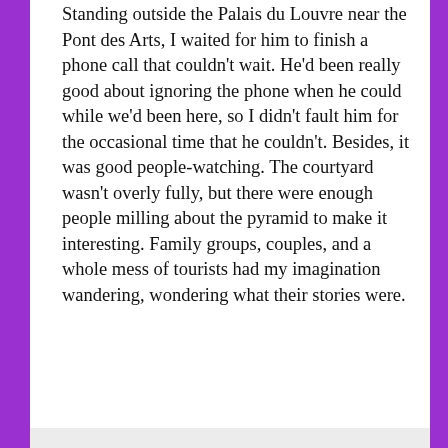Standing outside the Palais du Louvre near the Pont des Arts, I waited for him to finish a phone call that couldn't wait. He'd been really good about ignoring the phone when he could while we'd been here, so I didn't fault him for the occasional time that he couldn't. Besides, it was good people-watching. The courtyard wasn't overly fully, but there were enough people milling about the pyramid to make it interesting. Family groups, couples, and a whole mess of tourists had my imagination wandering, wondering what their stories were.
[Figure (infographic): Advertisement banner for '99% Invisible' podcast app. Shows bold text 'lovers.' with 'Download now' in red/orange, alongside image of podcast app cards including a black card with yellow square and '99% INVISIBLE' text, a teal card, and a blue card.]
Privacy & Cookies: This site uses cookies. By continuing to use this website, you agree to their use.
To find out more, including how to control cookies, see here: Cookie Policy
Close and accept